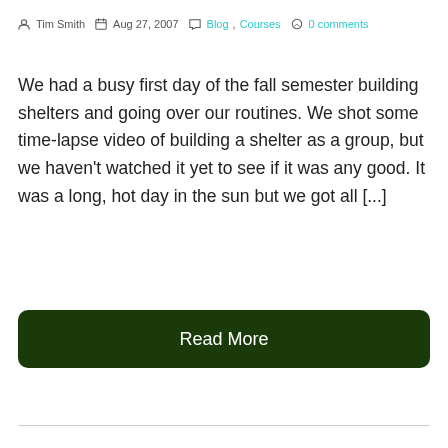Tim Smith  Aug 27, 2007  Blog, Courses  0 comments
We had a busy first day of the fall semester building shelters and going over our routines. We shot some time-lapse video of building a shelter as a group, but we haven't watched it yet to see if it was any good. It was a long, hot day in the sun but we got all [...]
Read More